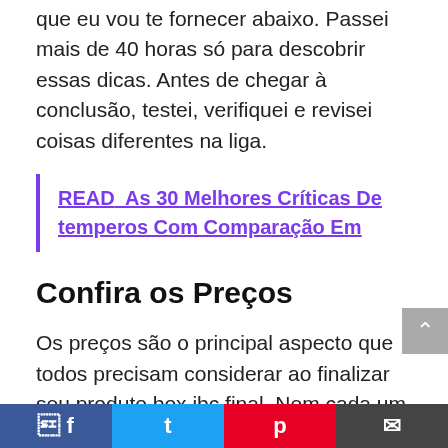que eu vou te fornecer abaixo. Passei mais de 40 horas só para descobrir essas dicas. Antes de chegar à conclusão, testei, verifiquei e revisei coisas diferentes na liga.
READ  As 30 Melhores Críticas De temperos Com Comparação Em
Confira os Preços
Os preços são o principal aspecto que todos precisam considerar ao finalizar seu produto box jbc final. Nem cada um dos box jbc está disponível no mercado, com a mesma etiqueta de preço, nem